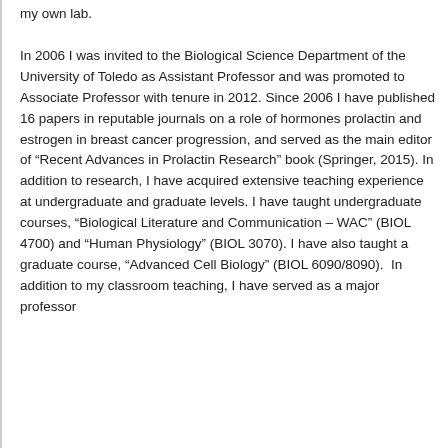my own lab. In 2006 I was invited to the Biological Science Department of the University of Toledo as Assistant Professor and was promoted to Associate Professor with tenure in 2012. Since 2006 I have published 16 papers in reputable journals on a role of hormones prolactin and estrogen in breast cancer progression, and served as the main editor of “Recent Advances in Prolactin Research” book (Springer, 2015). In addition to research, I have acquired extensive teaching experience at undergraduate and graduate levels. I have taught undergraduate courses, “Biological Literature and Communication – WAC” (BIOL 4700) and “Human Physiology” (BIOL 3070). I have also taught a graduate course, “Advanced Cell Biology” (BIOL 6090/8090). In addition to my classroom teaching, I have served as a major professor